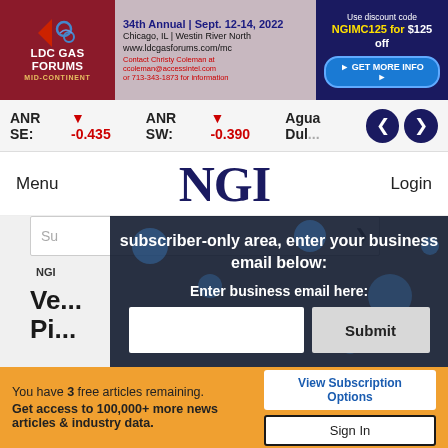[Figure (other): LDC Gas Forums Mid-Continent banner advertisement. 34th Annual | Sept. 12-14, 2022. Chicago, IL | Westin River North. www.ldcgasforums.com/mc. Contact Christy Coleman at ccoleman@accessintel.com or 713-343-1873 for information. Use discount code NGIMC125 for $125 off. GET MORE INFO button.]
ANR SE: -0.435   ANR SW: -0.390   Agua Dul...
Menu   NGI   Login
subscriber-only area, enter your business email below:
Enter business email here:
Submit
Ve... Pi...
You have 3 free articles remaining. Get access to 100,000+ more news articles & industry data.
View Subscription Options
Sign In